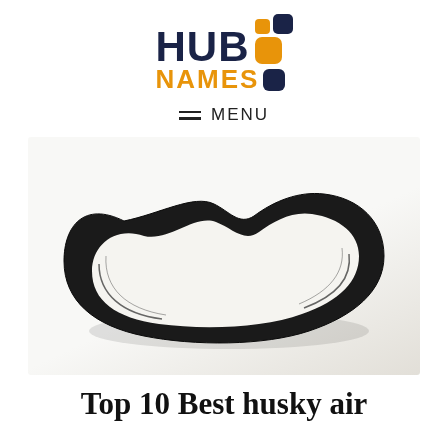[Figure (logo): HubNames logo with navy and orange text and colored square dots]
≡  MENU
[Figure (photo): A black ribbed drive belt/serpentine belt lying flat on a white background, forming a rounded loop shape]
Top 10 Best husky air